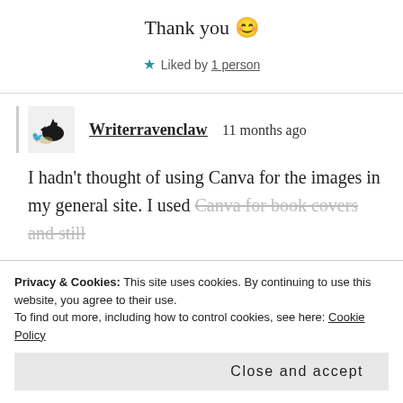Thank you 😊
★ Liked by 1 person
Writerravenclaw   11 months ago
I hadn't thought of using Canva for the images in my general site. I used Canva for book covers and still
Privacy & Cookies: This site uses cookies. By continuing to use this website, you agree to their use.
To find out more, including how to control cookies, see here: Cookie Policy
Close and accept